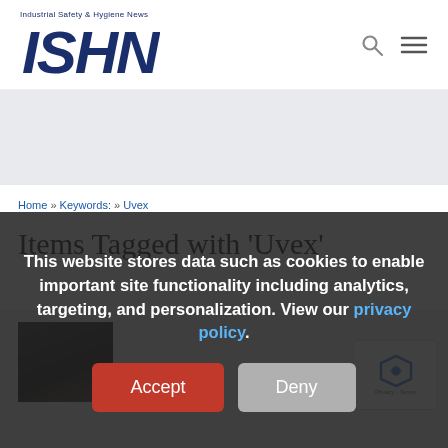Industrial Safety & Hygiene News — ISHN logo with search and menu icons
Home » Keywords: » Uvex
Items Tagged with 'Uvex'
This website stores data such as cookies to enable important site functionality including analytics, targeting, and personalization. View our privacy policy.
Accept  Deny